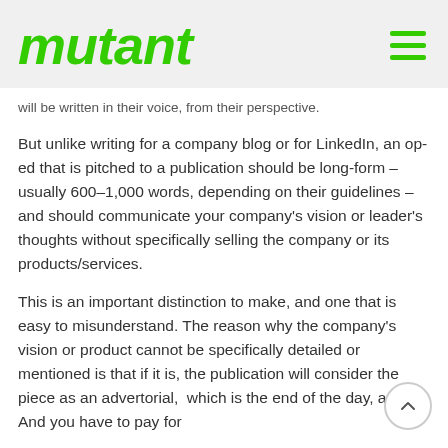mutant
will be written in their voice, from their perspective.
But unlike writing for a company blog or for LinkedIn, an op-ed that is pitched to a publication should be long-form – usually 600–1,000 words, depending on their guidelines – and should communicate your company's vision or leader's thoughts without specifically selling the company or its products/services.
This is an important distinction to make, and one that is easy to misunderstand. The reason why the company's vision or product cannot be specifically detailed or mentioned is that if it is, the publication will consider the piece as an advertorial,  which is the end of the day, an ad. And you have to pay for